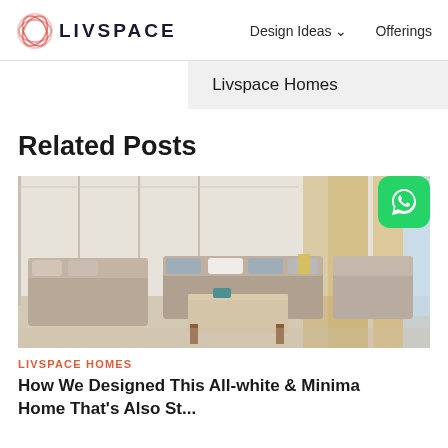LIVSPACE — Design Ideas ∨   Offerings
Livspace Homes
Related Posts
[Figure (photo): Interior photo of a modern minimalist living room with beige sofas, a wooden coffee table, white panelled walls, golden curtains, and city view windows.]
LIVSPACE HOMES
How We Designed This All-white & Minimal Home That's Also St...